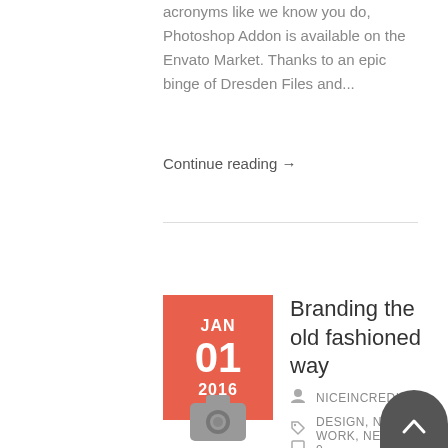acronyms like we know you do, Photoshop Addon is available on the Envato Market. Thanks to an epic binge of Dresden Files and...
Continue reading →
JAN 01 2016
Branding the old fashioned way
NICEINCREDIBLE
DESIGN, NEW WORK, NEWS
0